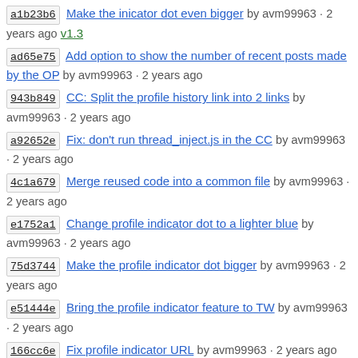a1b23b6 Make the inicator dot even bigger by avm99963 · 2 years ago v1.3
ad65e75 Add option to show the number of recent posts made by the OP by avm99963 · 2 years ago
943b849 CC: Split the profile history link into 2 links by avm99963 · 2 years ago
a92652e Fix: don't run thread_inject.js in the CC by avm99963 · 2 years ago
4c1a679 Merge reused code into a common file by avm99963 · 2 years ago
e1752a1 Change profile indicator dot to a lighter blue by avm99963 · 2 years ago
75d3744 Make the profile indicator dot bigger by avm99963 · 2 years ago
e51444e Bring the profile indicator feature to TW by avm99963 · 2 years ago
166cc6e Fix profile indicator URL by avm99963 · 2 years ago